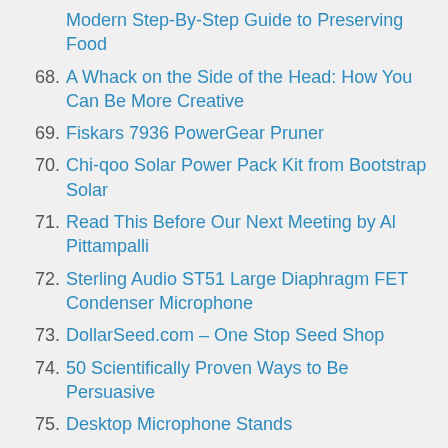Modern Step-By-Step Guide to Preserving Food
68. A Whack on the Side of the Head: How You Can Be More Creative
69. Fiskars 7936 PowerGear Pruner
70. Chi-qoo Solar Power Pack Kit from Bootstrap Solar
71. Read This Before Our Next Meeting by Al Pittampalli
72. Sterling Audio ST51 Large Diaphragm FET Condenser Microphone
73. DollarSeed.com – One Stop Seed Shop
74. 50 Scientifically Proven Ways to Be Persuasive
75. Desktop Microphone Stands
76. Logitech Harmony 650 Remote Control
77. Maple Sugaring Startup Kit from Tap My Trees
78. Sennheiser HD 280 PRO Headphones